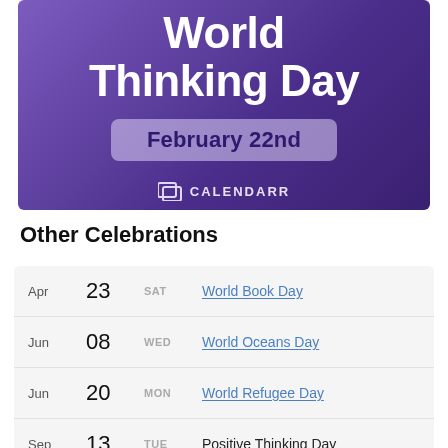[Figure (illustration): Purple gradient banner with 'World Thinking Day' title, 'February 22nd' date box, and CALENDARR brand logo]
Other Celebrations
| Month | Day | DOW | Name |
| --- | --- | --- | --- |
| Apr | 23 | SAT | World Book Day |
| Jun | 08 | WED | World Oceans Day |
| Jun | 20 | MON | World Refugee Day |
| Sep | 13 | TUE | Positive Thinking Day |